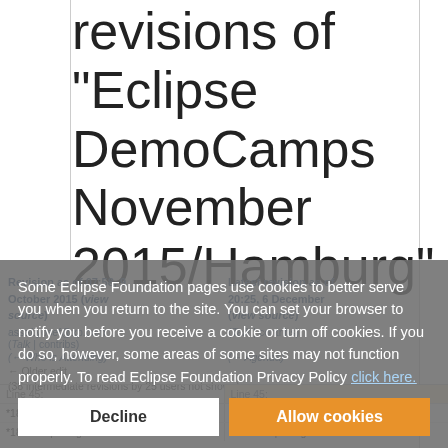revisions of "Eclipse DemoCamps November 2015/Hamburg"
Revision as of 07:58, 9 October 2015 (view source)
Latest revision as of 20:25, 6 December
(Talk | contribs) (Talk | contribs)
(← Who is Attending) (← Agenda)
← Older edit
(38 intermediate revisions by 25 users not shown)
Line 45: Line 45:
*18.00: Get together *18.00: Get together
*18.30: Opening/Welcome *18.30: Opening/Welcome
Some Eclipse Foundation pages use cookies to better serve you when you return to the site. You can set your browser to notify you before you receive a cookie or turn off cookies. If you do so, however, some areas of some sites may not function properly. To read Eclipse Foundation Privacy Policy click here.